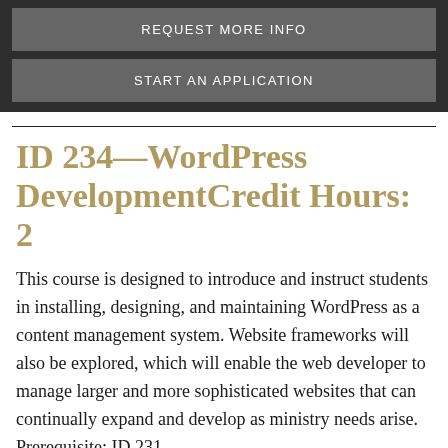REQUEST MORE INFO
START AN APPLICATION
ID 234—WordPress DevelopmentCredit Hours: 2
This course is designed to introduce and instruct students in installing, designing, and maintaining WordPress as a content management system. Website frameworks will also be explored, which will enable the web developer to manage larger and more sophisticated websites that can continually expand and develop as ministry needs arise. Prerequisite: ID 231